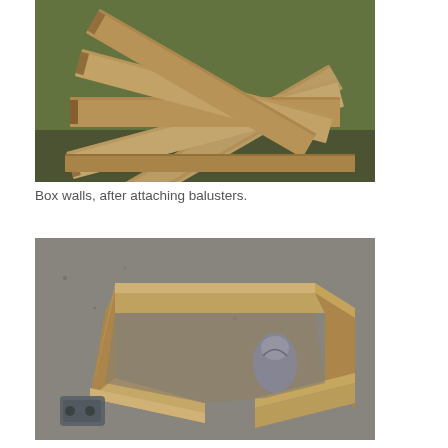[Figure (photo): Wooden box walls laid out on grass, showing flat boards with balusters attached, fanned out on green grass background.]
Box walls, after attaching balusters.
[Figure (photo): Assembled wooden box frame (rectangular planter box walls joined at corners) sitting on gravel/pavement, with a gray bag visible inside one corner and a tool visible at lower left.]